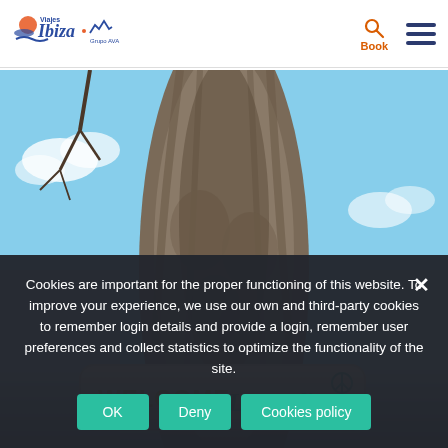Viajes Ibiza | Grupo AVA — Book
[Figure (photo): Photo of a large ancient olive tree trunk with blue sky, and a wooden sign reading 'WELCOME Las Dalias']
Cookies are important for the proper functioning of this website. To improve your experience, we use our own and third-party cookies to remember login details and provide a login, remember user preferences and collect statistics to optimize the functionality of the site.
OK
Deny
Cookies policy